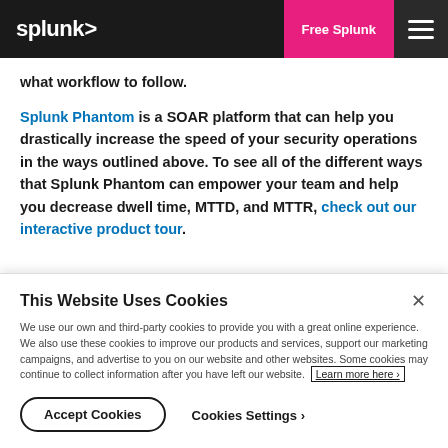splunk> | Free Splunk | ☰
what workflow to follow.
Splunk Phantom is a SOAR platform that can help you drastically increase the speed of your security operations in the ways outlined above. To see all of the different ways that Splunk Phantom can empower your team and help you decrease dwell time, MTTD, and MTTR, check out our interactive product tour.
This Website Uses Cookies
We use our own and third-party cookies to provide you with a great online experience. We also use these cookies to improve our products and services, support our marketing campaigns, and advertise to you on our website and other websites. Some cookies may continue to collect information after you have left our website. Learn more here ›
Accept Cookies | Cookies Settings ›